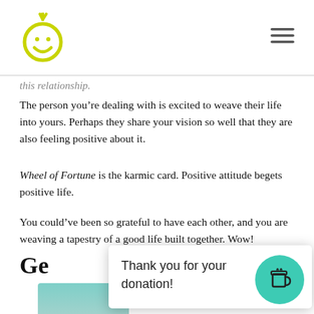[Figure (logo): Yellow-green smiley hand logo]
this relationship.
The person you’re dealing with is excited to weave their life into yours. Perhaps they share your vision so well that they are also feeling positive about it.
Wheel of Fortune is the karmic card. Positive attitude begets positive life.
You could’ve been so grateful to have each other, and you are weaving a tapestry of a good life built together. Wow!
Ge… nce
Thank you for your donation!
[Figure (illustration): Partial image at bottom, teal/green background with figures]